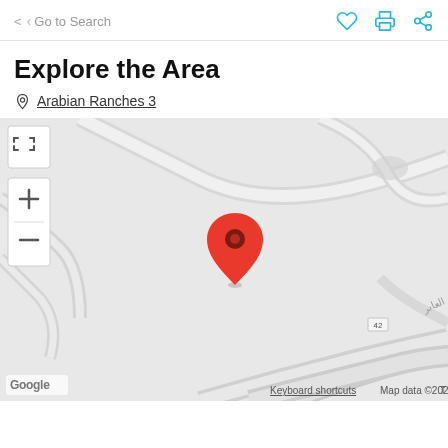Go to Search
Explore the Area
Arabian Ranches 3
[Figure (map): Google Map showing Arabian Ranches 3 location with a red pin marker. Map controls include fullscreen, zoom in, and zoom out buttons on the left. Road label 42 visible in lower right. Google logo and map data copyright 2022 shown at bottom.]